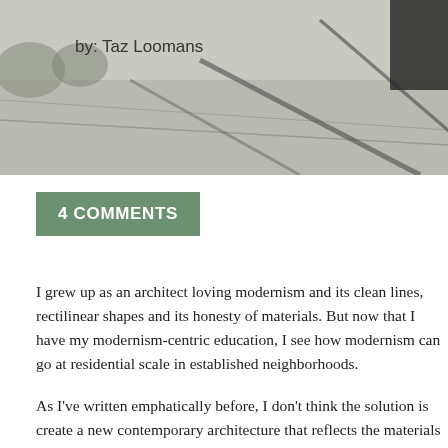[Figure (photo): Aerial or street-level photograph of a road/path with tree shadows, partially cropped. Author credit 'by: Taz Loomans' overlaid in top-left.]
4 COMMENTS
I grew up as an architect loving modernism and its clean lines, rectilinear shapes and its honesty of materials. But now that I have my modernism-centric education, I see how modernism can go at residential scale in established neighborhoods.
As I've written emphatically before, I don't think the solution is create a new contemporary architecture that reflects the materials today while still honoring timeless and universal principles of oriented. Historic homes celebrated the front porch, for example connection between a household and it's neighbors. Plus the knew right away where the front entrance is.